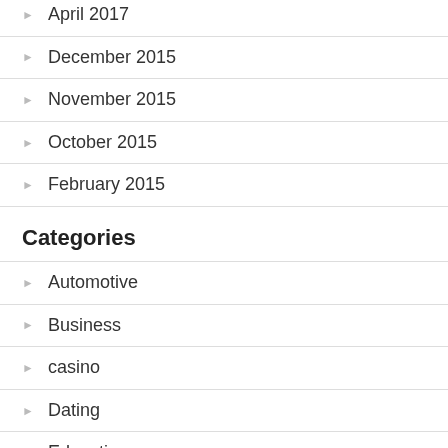April 2017
December 2015
November 2015
October 2015
February 2015
Categories
Automotive
Business
casino
Dating
Education